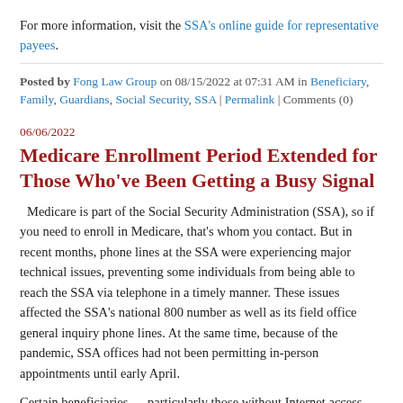For more information, visit the SSA's online guide for representative payees.
Posted by Fong Law Group on 08/15/2022 at 07:31 AM in Beneficiary, Family, Guardians, Social Security, SSA | Permalink | Comments (0)
06/06/2022
Medicare Enrollment Period Extended for Those Who've Been Getting a Busy Signal
Medicare is part of the Social Security Administration (SSA), so if you need to enroll in Medicare, that's whom you contact. But in recent months, phone lines at the SSA were experiencing major technical issues, preventing some individuals from being able to reach the SSA via telephone in a timely manner. These issues affected the SSA's national 800 number as well as its field office general inquiry phone lines. At the same time, because of the pandemic, SSA offices had not been permitting in-person appointments until early April.
Certain beneficiaries — particularly those without Internet access — were therefore unable to reach the SSA before the end of Medicare's annual general enrollment period, which typically closes March 31.